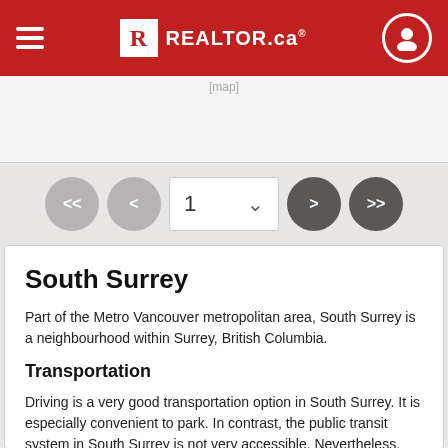REALTOR.ca
[Figure (screenshot): Map image placeholder strip]
[Figure (screenshot): Pagination controls: << < [1 v] > >>]
South Surrey
Part of the Metro Vancouver metropolitan area, South Surrey is a neighbourhood within Surrey, British Columbia.
Transportation
Driving is a very good transportation option in South Surrey. It is especially convenient to park. In contrast, the public transit system in South Surrey is not very accessible. Nevertheless, there are approximately 10 bus lines, and